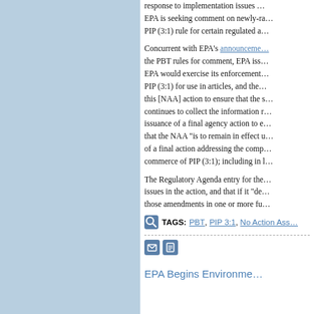response to implementation issues … EPA is seeking comment on newly-r… PIP (3:1) rule for certain regulated a…
Concurrent with EPA's announcement… the PBT rules for comment, EPA iss… EPA would exercise its enforcement… PIP (3:1) for use in articles, and the… this [NAA] action to ensure that the s… continues to collect the information r… issuance of a final agency action to e… that the NAA "is to remain in effect u… of a final action addressing the comp… commerce of PIP (3:1); including in l…
The Regulatory Agenda entry for the… issues in the action, and that if it "de… those amendments in one or more fu…
TAGS: PBT, PIP 3:1, No Action Ass…
EPA Begins Environme…